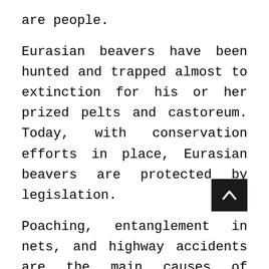are people.
Eurasian beavers have been hunted and trapped almost to extinction for his or her prized pelts and castoreum. Today, with conservation efforts in place, Eurasian beavers are protected by legislation.
Poaching, entanglement in nets, and highway accidents are the main causes of death. Natural predators are wolves, brown bears, and red foxes. The main reason for dying in C. fiber right this moment is infectious illness.
Eurasian beavers use a “tail slap” when